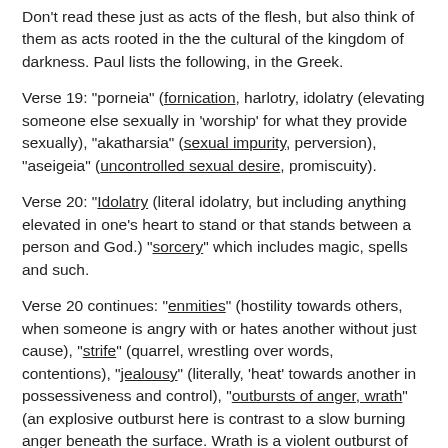Don't read these just as acts of the flesh, but also think of them as acts rooted in the the cultural of the kingdom of darkness. Paul lists the following, in the Greek.
Verse 19: "porneia" (fornication, harlotry, idolatry (elevating someone else sexually in 'worship' for what they provide sexually), "akatharsia" (sexual impurity, perversion), "aseigeia" (uncontrolled sexual desire, promiscuity).
Verse 20: "Idolatry (literal idolatry, but including anything elevated in one's heart to stand or that stands between a person and God.) "sorcery" which includes magic, spells and such.
Verse 20 continues: "enmities" (hostility towards others, when someone is angry with or hates another without just cause), "strife" (quarrel, wrestling over words, contentions), "jealousy" (literally, 'heat' towards another in possessiveness and control), "outbursts of anger, wrath" (an explosive outburst here is contrast to a slow burning anger beneath the surface. Wrath is a violent outburst of anger without righteous justification towards another), "contentions" (contentions